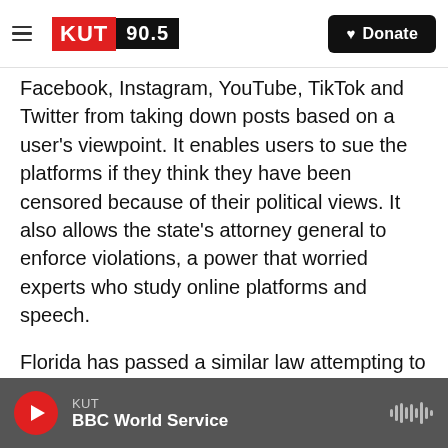KUT 90.5 | Donate
Facebook, Instagram, YouTube, TikTok and Twitter from taking down posts based on a user's viewpoint. It enables users to sue the platforms if they think they have been censored because of their political views. It also allows the state's attorney general to enforce violations, a power that worried experts who study online platforms and speech.
Florida has passed a similar law attempting to rein in social media companies. But that one has been halted as a legal battle plays out over its implications for the First Amendment and other
KUT | BBC World Service